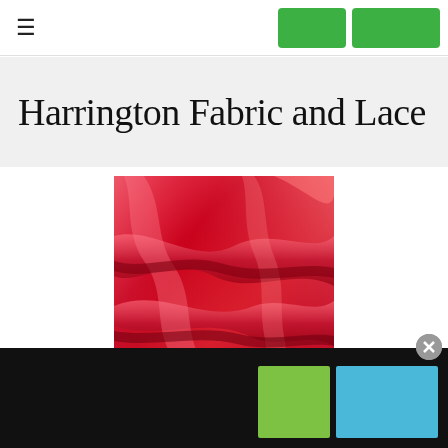≡  [nav buttons]
Harrington Fabric and Lace
[Figure (photo): Close-up photo of red satin/silk fabric with folds and sheen, shown as a square swatch]
[black footer bar with green and blue buttons]